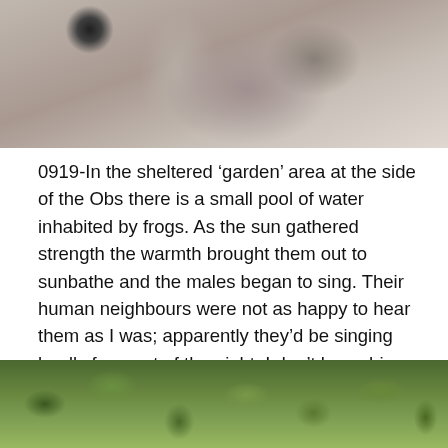[Figure (photo): Close-up photo of a hand holding a small bird, with dark feathers visible at the top of the frame against a light background.]
0919-In the sheltered ‘garden’ area at the side of the Obs there is a small pool of water inhabited by frogs. As the sun gathered strength the warmth brought them out to sunbathe and the males began to sing. Their human neighbours were not as happy to hear them as I was; apparently they’d be singing loudly for most of the night. I don’t know his species, but according to the GONHS website, frogs present here in Gibraltar are introduced and of the species Rana (Pelophylax) perezi (Perez’s Marsh Frog). Maybe someone will confirm or correct me?
[Figure (photo): Close-up photo of green, curly aquatic vegetation or moss with small dark insects or creatures visible among the plant material.]